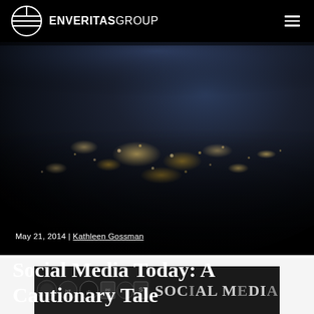ENVERITAS GROUP
May 21, 2014 | Kathleen Gossman
Social Media Today: A Cautionary Tale
[Figure (photo): Aerial night view of Earth from space showing city lights across a continent, used as hero background image for the blog post.]
[Figure (photo): Partial view of a social media themed image at the bottom of the page showing text 'SOCIAL MEDIA:' with vintage-style graphics on dark background.]